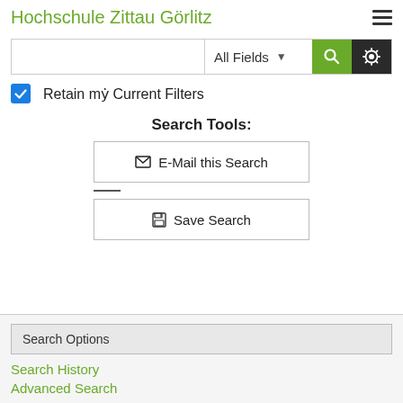Hochschule Zittau Görlitz
[Figure (screenshot): Search bar with text input, All Fields dropdown, green search button with magnifier icon, and dark settings/gear button]
Retain my Current Filters
Search Tools:
✉ E-Mail this Search
🖫 Save Search
Search Options
Search History
Advanced Search